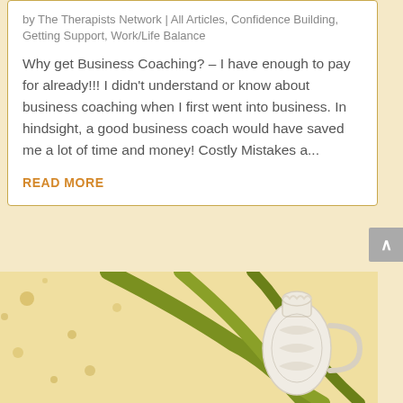by The Therapists Network | All Articles, Confidence Building, Getting Support, Work/Life Balance
Why get Business Coaching? – I have enough to pay for already!!! I didn't understand or know about business coaching when I first went into business. In hindsight, a good business coach would have saved me a lot of time and money! Costly Mistakes a...
READ MORE
[Figure (photo): A decorative white ceramic pitcher/jug with ornate relief pattern, hanging from what appears to be a green plant branch or stem, against a warm spotted/bokeh background.]